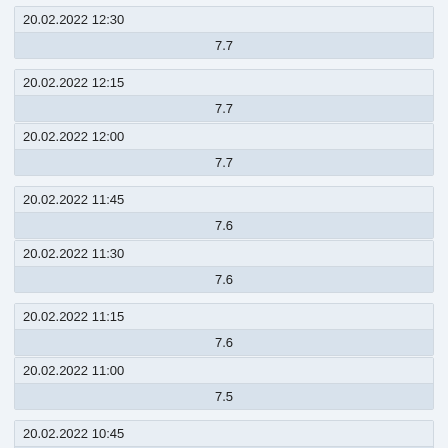| 20.02.2022 12:30 |
| --- |
| 7.7 |
| 20.02.2022 12:15 |
| --- |
| 7.7 |
| 20.02.2022 12:00 |
| --- |
| 7.7 |
| 20.02.2022 11:45 |
| --- |
| 7.6 |
| 20.02.2022 11:30 |
| --- |
| 7.6 |
| 20.02.2022 11:15 |
| --- |
| 7.6 |
| 20.02.2022 11:00 |
| --- |
| 7.5 |
| 20.02.2022 10:45 |
| --- |
| 7.5 |